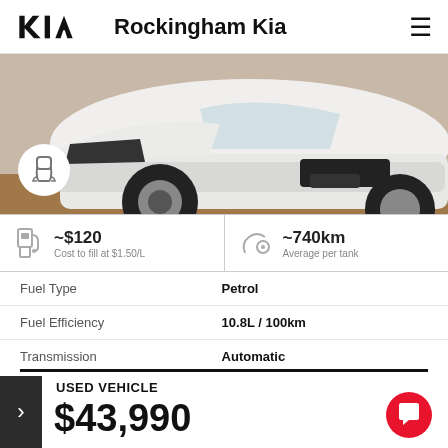Rockingham Kia
[Figure (photo): Front view of a white Kia SUV with license plate 1HEA 143, parked on a reddish surface. A seat icon badge is overlaid on the lower left of the image.]
~$120 Cost to fill at $1.50/L
~740km Average per tank
| Fuel Type | Petrol |
| Fuel Efficiency | 10.8L / 100km |
| Transmission | Automatic |
| Odometer | 33,374 kms |
USED VEHICLE
$43,990